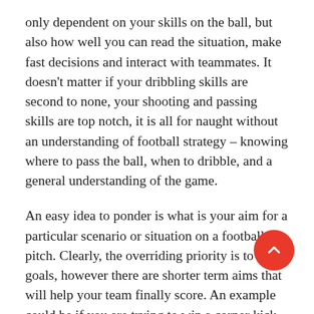only dependent on your skills on the ball, but also how well you can read the situation, make fast decisions and interact with teammates. It doesn't matter if your dribbling skills are second to none, your shooting and passing skills are top notch, it is all for naught without an understanding of football strategy – knowing where to pass the ball, when to dribble, and a general understanding of the game.
An easy idea to ponder is what is your aim for a particular scenario or situation on a football pitch. Clearly, the overriding priority is to score goals, however there are shorter term aims that will help your team finally score. An example could be if you are trying to win a corner kick. Are you attempting to keep control of the ball? Do you need to win a throw-in because you have little alternative choice. Are you trying to switch the ball to the other side of the field where there is more space? Overall, this is a good thing to think about as a player and a team when thinking about strategies and tactics in football